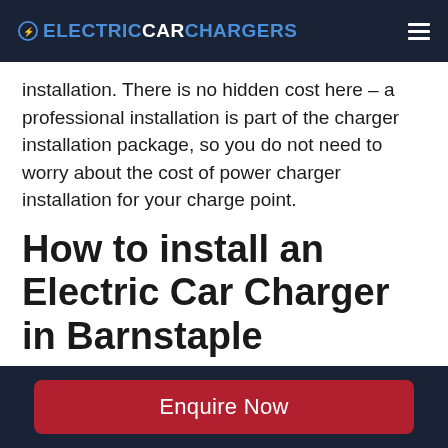ELECTRICCARCHARGERS
installation. There is no hidden cost here – a professional installation is part of the charger installation package, so you do not need to worry about the cost of power charger installation for your charge point.
How to install an Electric Car Charger in Barnstaple
The process of getting an electric car charger installed in your home is a relatively
Enquire Now